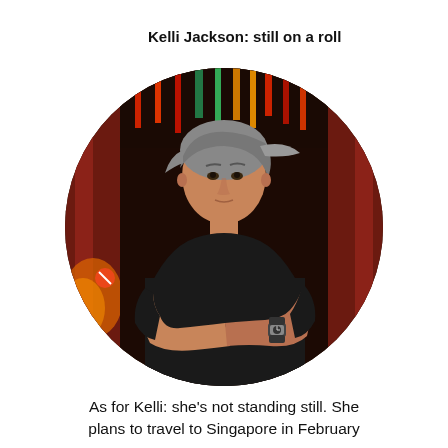Kelli Jackson: still on a roll
[Figure (photo): Circular cropped portrait photograph of Kelli Jackson, a woman with short grey-streaked hair wearing a black t-shirt, arms crossed, wearing a watch. She is photographed in front of a red ornate Asian-style building interior with colourful hanging decorations in the background.]
As for Kelli: she’s not standing still. She plans to travel to Singapore in February